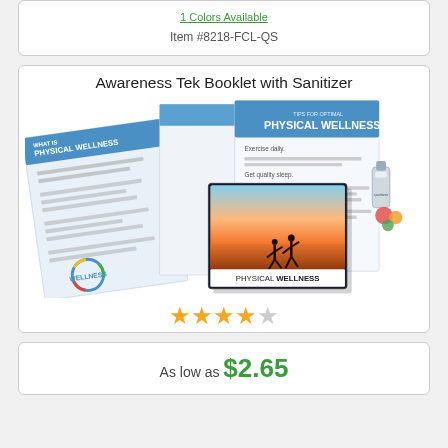1 Colors Available
Item #8218-FCL-QS
Awareness Tek Booklet with Sanitizer
[Figure (photo): Product photo of an Awareness Tek Booklet with Sanitizer showing a trifold brochure about Physical Wellness with tips, a small booklet/disc showing two people running at sunset on a beach, and a bottle of sanitizer.]
4 out of 5 stars rating
As low as $2.65